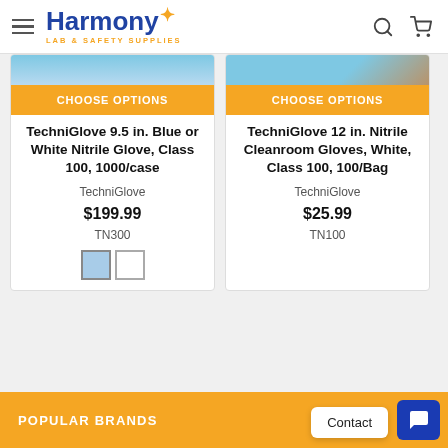Harmony Lab & Safety Supplies
[Figure (screenshot): Product card image strip for TechniGlove 9.5 in. Blue or White Nitrile Glove]
CHOOSE OPTIONS
TechniGlove 9.5 in. Blue or White Nitrile Glove, Class 100, 1000/case
TechniGlove
$199.99
TN300
[Figure (screenshot): Product card image strip for TechniGlove 12 in. Nitrile Cleanroom Gloves]
CHOOSE OPTIONS
TechniGlove 12 in. Nitrile Cleanroom Gloves, White, Class 100, 100/Bag
TechniGlove
$25.99
TN100
POPULAR BRANDS